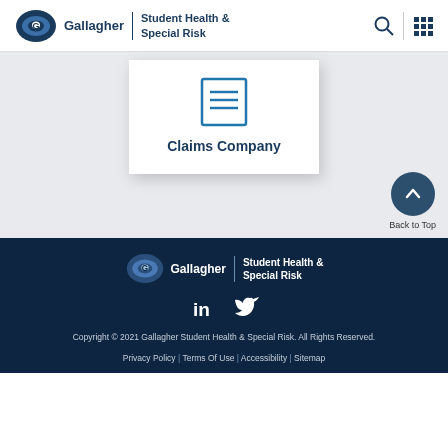Gallagher | Student Health & Special Risk
[Figure (screenshot): Claims Company card with document icon]
Claims Company
[Figure (illustration): Back to Top button with upward chevron]
Gallagher | Student Health & Special Risk
LinkedIn | Twitter
Copyright © 2021 Gallagher Student Health & Special Risk. All Rights Reserved.
Privacy Policy | Terms Of Use | Accessibility | Sitemap